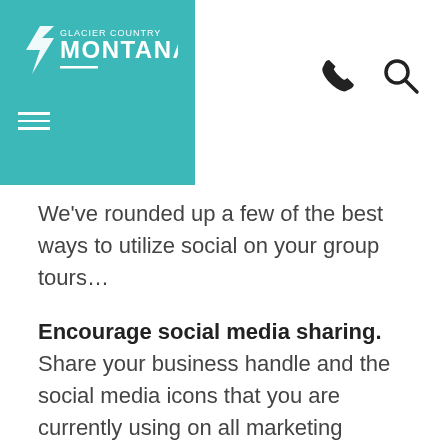[Figure (logo): Glacier Country Montana logo in teal box with hamburger menu icon, plus phone and search icons on top right]
We've rounded up a few of the best ways to utilize social on your group tours…
Encourage social media sharing. Share your business handle and the social media icons that you are currently using on all marketing collateral. This allows you to have direct connection between you and your tour guest. Be sure that you have clear signage encouraging your group attendees to engage and share their experiences in real time by tagging your business in their photos. By having your clients post for your business it gives you another platform to highlight your tour offerings and